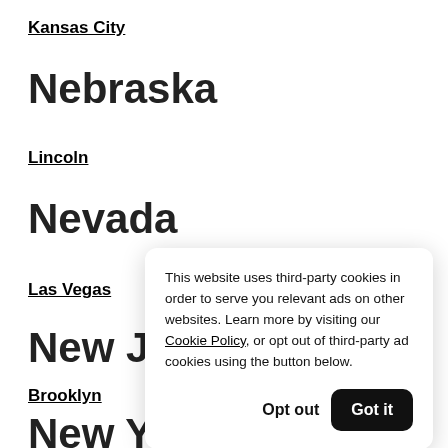Kansas City
Nebraska
Lincoln
Nevada
Las Vegas
New Jer
Brooklyn
New Yor
This website uses third-party cookies in order to serve you relevant ads on other websites. Learn more by visiting our Cookie Policy, or opt out of third-party ad cookies using the button below.